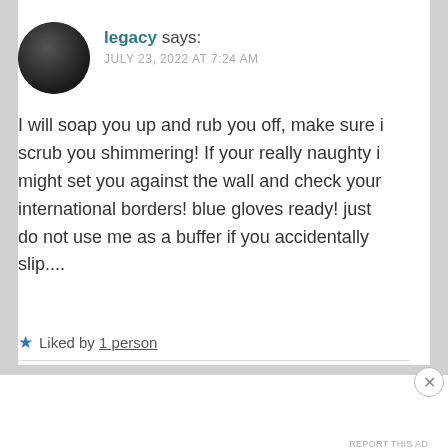[Figure (photo): Circular avatar photo of a person with dark background]
legacy says:
JULY 23, 2022 AT 7:24 AM
I will soap you up and rub you off, make sure i scrub you shimmering! If your really naughty i might set you against the wall and check your international borders! blue gloves ready! just do not use me as a buffer if you accidentally slip....
★ Liked by 1 person
Advertisements
[Figure (other): Advertisement banner: dark navy background, white text 'Opinions. We all have them!' with WordPress logo and another circular logo on the right]